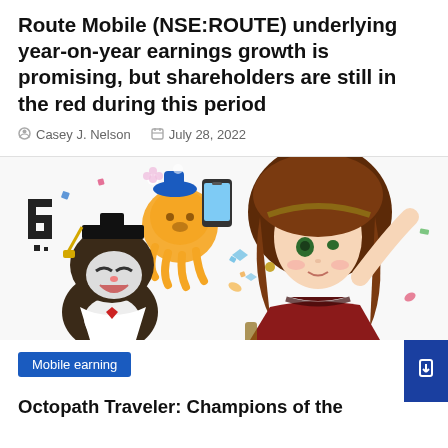Route Mobile (NSE:ROUTE) underlying year-on-year earnings growth is promising, but shareholders are still in the red during this period
Casey J. Nelson   July 28, 2022
[Figure (illustration): Colorful illustration featuring anime-style characters including a girl in red dress with brown hair, a cat wearing a graduation cap, a golden octopus-like creature holding a phone, a pixelated G logo, and various confetti elements on white background]
Mobile earning
Octopath Traveler: Champions of the